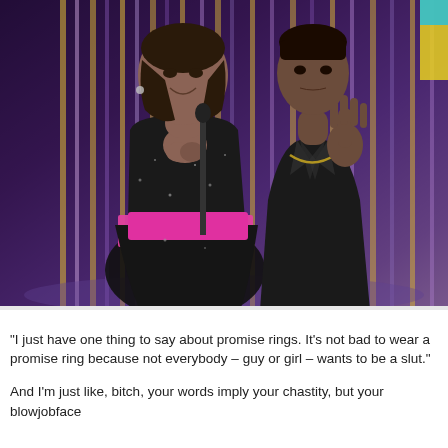[Figure (photo): Two people standing on a stage at what appears to be an awards show. On the left is a woman in a strapless black sparkly dress with a pink/magenta band at the waist, with her hands clasped together at her chest, smiling. On the right is a younger man in a black leather jacket with a chain necklace, with his hand raised. There is a microphone stand between them. The background shows reflective metallic curtain strips in purple and gold tones.]
"I just have one thing to say about promise rings. It's not bad to wear a promise ring because not everybody – guy or girl – wants to be a slut."
And I'm just like, bitch, your words imply your chastity, but your blowjobface